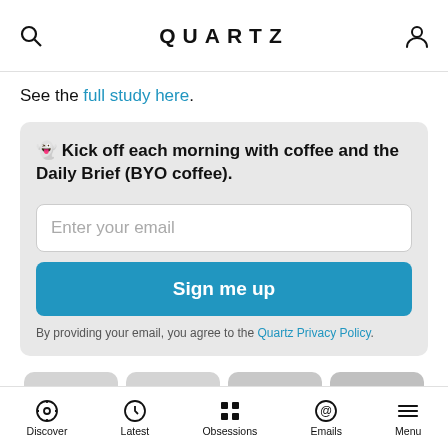QUARTZ
See the full study here.
👻 Kick off each morning with coffee and the Daily Brief (BYO coffee).
Enter your email
Sign me up
By providing your email, you agree to the Quartz Privacy Policy.
[Figure (other): Social share buttons row: Facebook, Twitter, WhatsApp, Email]
Discover  Latest  Obsessions  Emails  Menu